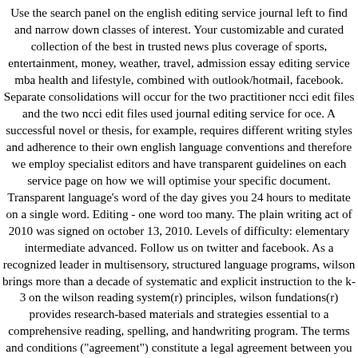Use the search panel on the english editing service journal left to find and narrow down classes of interest. Your customizable and curated collection of the best in trusted news plus coverage of sports, entertainment, money, weather, travel, admission essay editing service mba health and lifestyle, combined with outlook/hotmail, facebook. Separate consolidations will occur for the two practitioner ncci edit files and the two ncci edit files used journal editing service for oce. A successful novel or thesis, for example, requires different writing styles and adherence to their own english language conventions and therefore we employ specialist editors and have transparent guidelines on each service page on how we will optimise your specific document. Transparent language's word of the day gives you 24 hours to meditate on a single word. Editing - one word too many. The plain writing act of 2010 was signed on october 13, 2010. Levels of difficulty: elementary intermediate advanced. Follow us on twitter and facebook. As a recognized leader in multisensory, structured language programs, wilson brings more than a decade of systematic and explicit instruction to the k-3 on the wilson reading system(r) principles, wilson fundations(r) provides research-based materials and strategies essential to a comprehensive reading, spelling, and handwriting program. The terms and conditions ("agreement") constitute a legal agreement between you and doordash, inc. The result is a vibrant subscription-based video training service with over 3,000 training modules that cover everything from standard video editing to xfx and. Proven method